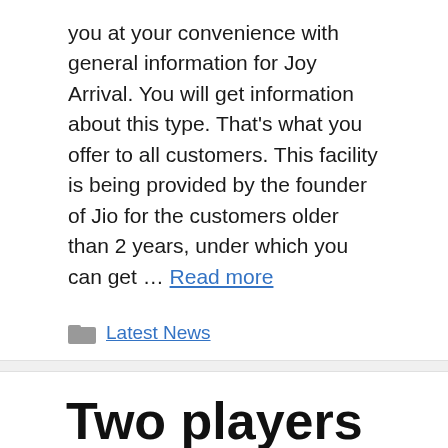you at your convenience with general information for Joy Arrival. You will get information about this type. That's what you offer to all customers. This facility is being provided by the founder of Jio for the customers older than 2 years, under which you can get … Read more
Latest News
Two players became millionaires, Mega